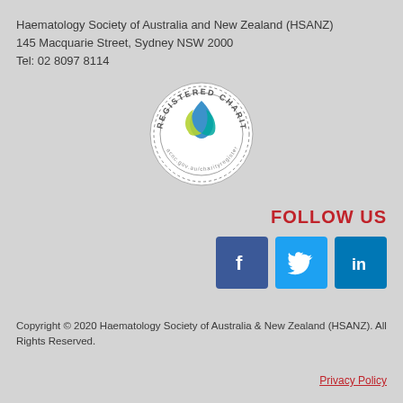Haematology Society of Australia and New Zealand (HSANZ)
145 Macquarie Street, Sydney NSW 2000
Tel: 02 8097 8114
[Figure (logo): Registered Charity seal/badge with circular text reading 'REGISTERED CHARITY' and 'acnc.gov.au/charityregister', with a stylized blue and green flame/drop logo in the centre]
FOLLOW US
[Figure (logo): Three social media icons: Facebook (dark blue 'f'), Twitter (light blue bird), LinkedIn (dark blue 'in')]
Copyright © 2020 Haematology Society of Australia & New Zealand (HSANZ). All Rights Reserved.
Privacy Policy